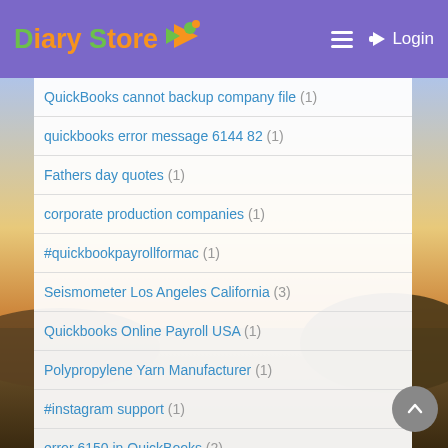Diary Store — Login
QuickBooks cannot backup company file (1)
quickbooks error message 6144 82 (1)
Fathers day quotes (1)
corporate production companies (1)
#quickbookpayrollformac (1)
Seismometer Los Angeles California (3)
Quickbooks Online Payroll USA (1)
Polypropylene Yarn Manufacturer (1)
#instagram support (1)
error 6150 in QuickBooks (2)
Robert Collier (1)
#facebook error code 2 (1)